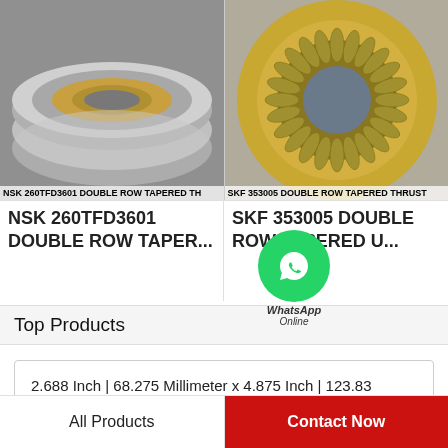[Figure (photo): NSK 260TFD3601 double row tapered thrust bearing, metallic silver finish, top view]
NSK 260TFD3601 DOUBLE ROW TAPERED TH
[Figure (photo): SKF 353005 double row tapered thrust bearing, gold/bronze cage, top view]
SKF 353005 DOUBLE ROW TAPERED THRUST
NSK 260TFD3601 DOUBLE ROW TAPER...
SKF 353005 DOUBLE ROW TAPERED U...
[Figure (logo): WhatsApp green circle icon with phone handset, with text 'WhatsApp Online']
Top Products
2.688 Inch | 68.275 Millimeter x 4.875 Inch | 123.83 Millimeter x 3.5 Inch | 88.9 Millimeter REXNORD
All Products
Contact Now